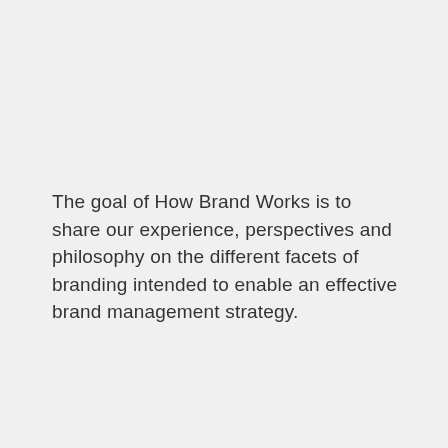The goal of How Brand Works is to share our experience, perspectives and philosophy on the different facets of branding intended to enable an effective brand management strategy.